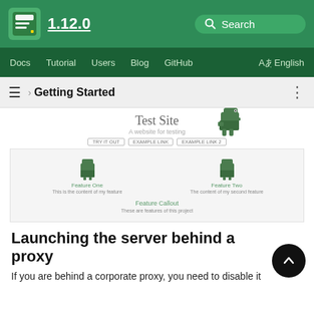1.12.0
Docs  Tutorial  Users  Blog  GitHub  English
› Getting Started
[Figure (screenshot): Screenshot of a test site showing 'Test Site' heading, subtitle 'A website for testing', three button pills labeled TRY IT OUT, EXAMPLE LINK, EXAMPLE LINK 2, a dinosaur logo, and an inner preview box with two features (Feature One: This is the content of my feature; Feature Two: The content of my second feature) and a Feature Callout section (These are features of this project)]
Launching the server behind a proxy
If you are behind a corporate proxy, you need to disable it